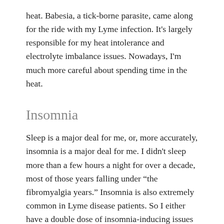heat. Babesia, a tick-borne parasite, came along for the ride with my Lyme infection. It's largely responsible for my heat intolerance and electrolyte imbalance issues. Nowadays, I'm much more careful about spending time in the heat.
Insomnia
Sleep is a major deal for me, or, more accurately, insomnia is a major deal for me. I didn't sleep more than a few hours a night for over a decade, most of those years falling under “the fibromyalgia years.” Insomnia is also extremely common in Lyme disease patients. So I either have a double dose of insomnia-inducing issues or one of them is the primary contributor. At this point, I don’t care which is the culprit.